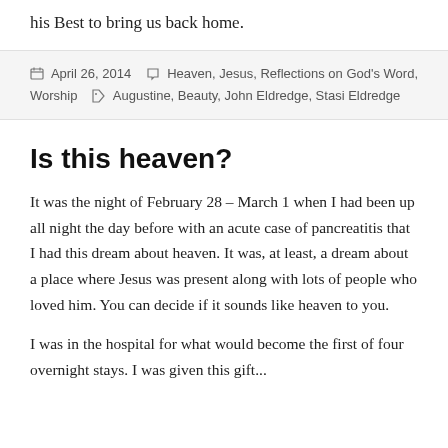his Best to bring us back home.
April 26, 2014   Heaven, Jesus, Reflections on God's Word, Worship   Augustine, Beauty, John Eldredge, Stasi Eldredge
Is this heaven?
It was the night of February 28 – March 1 when I had been up all night the day before with an acute case of pancreatitis that I had this dream about heaven. It was, at least, a dream about a place where Jesus was present along with lots of people who loved him. You can decide if it sounds like heaven to you.
I was in the hospital for what would become the first of four overnight stays. I was given this gift...